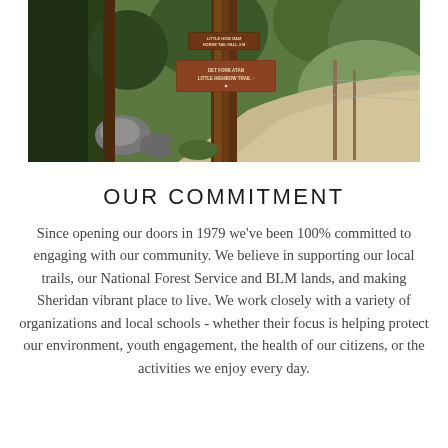[Figure (photo): Forest trail photo showing pine trees with brown wooden trail signs attached to a tree trunk. Rocky terrain and a dirt path visible in the background with green foliage.]
OUR COMMITMENT
Since opening our doors in 1979 we've been 100% committed to engaging with our community. We believe in supporting our local trails, our National Forest Service and BLM lands, and making Sheridan vibrant place to live. We work closely with a variety of organizations and local schools - whether their focus is helping protect our environment, youth engagement, the health of our citizens, or the activities we enjoy every day.